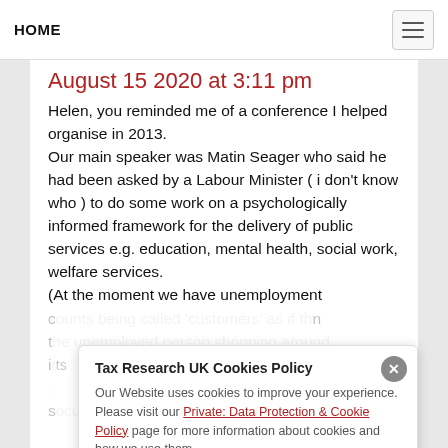HOME
August 15 2020 at 3:11 pm
Helen, you reminded me of a conference I helped organise in 2013.
Our main speaker was Matin Seager who said he had been asked by a Labour Minister ( i don't know who ) to do some work on a psychologically informed framework for the delivery of public services e.g. education, mental health, social work, welfare services.
(At the moment we have unemployment
[partially obscured text continues]
Tax Research UK Cookies Policy
Our Website uses cookies to improve your experience. Please visit our Private: Data Protection & Cookie Policy page for more information about cookies and how we use them.